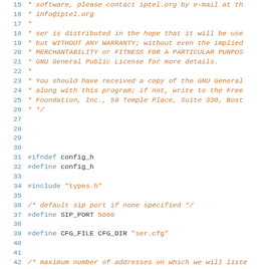Source code viewer showing lines 15-43 of a C header file (config.h) with syntax highlighting. Lines 15-26 show a comment block, lines 27-30 are blank, lines 31-32 show #ifndef and #define config_h, line 33 blank, line 34 #include "types.h", line 35 blank, line 36 comment about default sip port, line 37 #define SIP_PORT 5060, line 38 blank, line 39 #define CFG_FILE CFG_DIR "ser.cfg", lines 40-41 blank, line 42 comment about maximum number of addresses, line 43 #define MAX_LISTEN 16